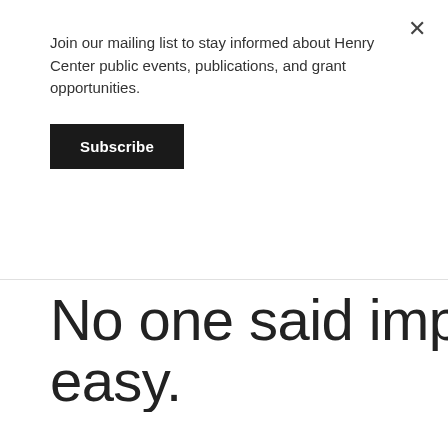Join our mailing list to stay informed about Henry Center public events, publications, and grant opportunities.
Subscribe
No one said improvisa… easy.
It requires the toys to p… strong faith in their ow… And at times what And… see doesn't convince t…